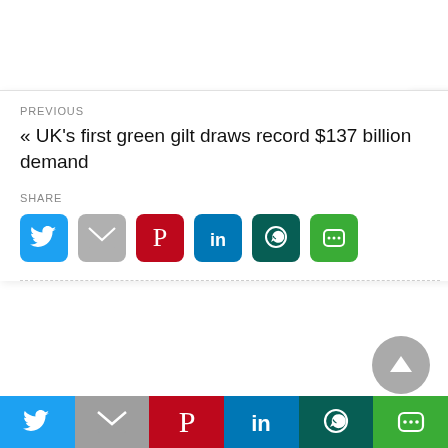PREVIOUS
« UK's first green gilt draws record $137 billion demand
SHARE
[Figure (infographic): Social share buttons: Twitter (blue), Gmail (grey), Pinterest (red), LinkedIn (blue), WhatsApp (dark green), Line (green)]
[Figure (infographic): Scroll-to-top circular grey button with upward triangle arrow]
[Figure (infographic): Bottom share bar with Twitter, Gmail, Pinterest, LinkedIn, WhatsApp, Line icons]